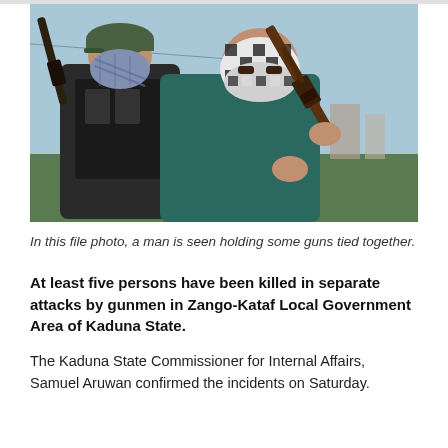[Figure (photo): Two masked gunmen holding rifles, faces covered with scarves/keffiyeh, outdoors in daylight. File photo.]
In this file photo, a man is seen holding some guns tied together.
At least five persons have been killed in separate attacks by gunmen in Zango-Kataf Local Government Area of Kaduna State.
The Kaduna State Commissioner for Internal Affairs, Samuel Aruwan confirmed the incidents on Saturday.